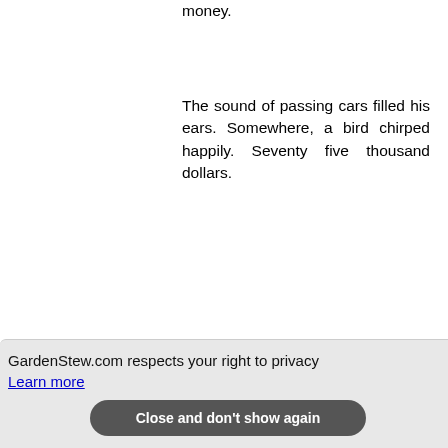money.
The sound of passing cars filled his ears. Somewhere, a bird chirped happily. Seventy five thousand dollars.
Suddenly, Vince knew what he was going to do. With a new found confidence he
GardenStew.com respects your right to privacy
Learn more
Close and don't show again